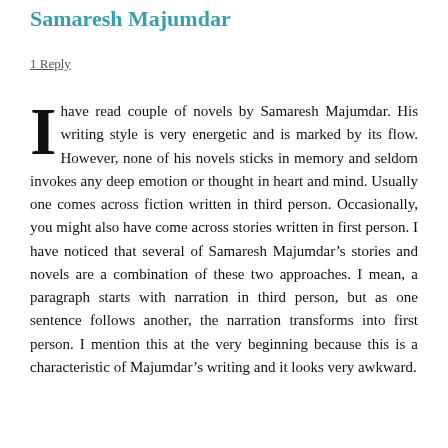Samaresh Majumdar
1 Reply
I have read couple of novels by Samaresh Majumdar. His writing style is very energetic and is marked by its flow. However, none of his novels sticks in memory and seldom invokes any deep emotion or thought in heart and mind. Usually one comes across fiction written in third person. Occasionally, you might also have come across stories written in first person. I have noticed that several of Samaresh Majumdar's stories and novels are a combination of these two approaches. I mean, a paragraph starts with narration in third person, but as one sentence follows another, the narration transforms into first person. I mention this at the very beginning because this is a characteristic of Majumdar's writing and it looks very awkward.